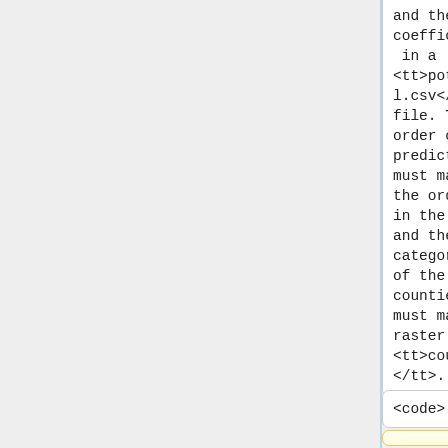and their coefficients in a <tt>potential.csv</tt> file. The order of predictors must match the order in the file and the categories of the counties must match raster <tt>counties</tt>.
and their coefficients in a <tt>potential.csv</tt> file. The order of predictors must match the order in the file and the categories of the counties must match raster <tt>counties</tt>.
<code>
<code>